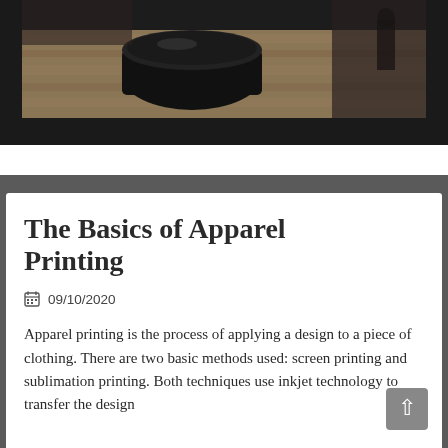[Figure (photo): A dark interior scene showing a black circular object on a wooden floor surface, photographed in a showroom or exhibition space with dark walls and wooden flooring.]
The Basics of Apparel Printing
09/10/2020
Apparel printing is the process of applying a design to a piece of clothing. There are two basic methods used: screen printing and sublimation printing. Both techniques use inkjet technology to transfer the design